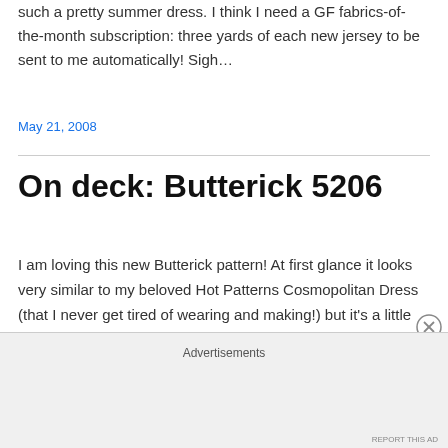such a pretty summer dress. I think I need a GF fabrics-of-the-month subscription: three yards of each new jersey to be sent to me automatically! Sigh…
May 21, 2008
On deck: Butterick 5206
I am loving this new Butterick pattern! At first glance it looks very similar to my beloved Hot Patterns Cosmopolitan Dress (that I never get tired of wearing and making!) but it's a little different. You see, there is no inset
Advertisements